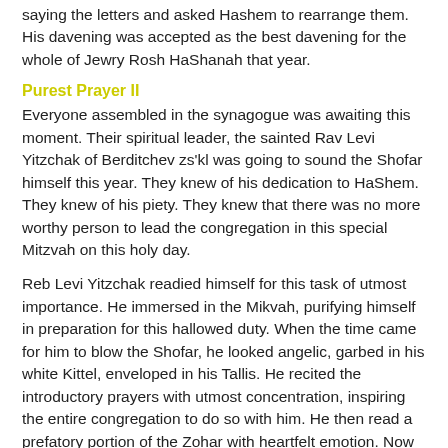saying the letters and asked Hashem to rearrange them. His davening was accepted as the best davening for the whole of Jewry Rosh HaShanah that year.
Purest Prayer II
Everyone assembled in the synagogue was awaiting this moment. Their spiritual leader, the sainted Rav Levi Yitzchak of Berditchev zs'kl was going to sound the Shofar himself this year. They knew of his dedication to HaShem. They knew of his piety. They knew that there was no more worthy person to lead the congregation in this special Mitzvah on this holy day.
Reb Levi Yitzchak readied himself for this task of utmost importance. He immersed in the Mikvah, purifying himself in preparation for this hallowed duty. When the time came for him to blow the Shofar, he looked angelic, garbed in his white Kittel, enveloped in his Tallis. He recited the introductory prayers with utmost concentration, inspiring the entire congregation to do so with him. He then read a prefatory portion of the Zohar with heartfelt emotion. Now was the time for the blowing of the Shofar. The entire congregation stood with anticipation and trepidation with